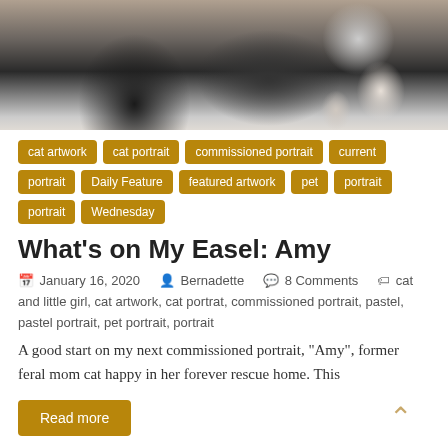[Figure (photo): Painting of a cat, dark and light fur tones, appears to be a pastel portrait artwork]
cat artwork
cat portrait
commissioned portrait
current portrait
Daily Feature
featured artwork
pet portrait
portrait
Wednesday
What’s on My Easel: Amy
January 16, 2020  Bernadette  8 Comments  cat and little girl, cat artwork, cat portrat, commissioned portrait, pastel, pastel portrait, pet portrait, portrait
A good start on my next commissioned portrait, “Amy”, former feral mom cat happy in her forever rescue home. This
Read more